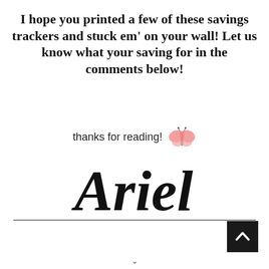I hope you printed a few of these savings trackers and stuck em' on your wall! Let us know what your saving for in the comments below!
thanks for reading!
[Figure (illustration): Pink butterfly illustration]
[Figure (illustration): Handwritten cursive signature reading 'Ariel']
^